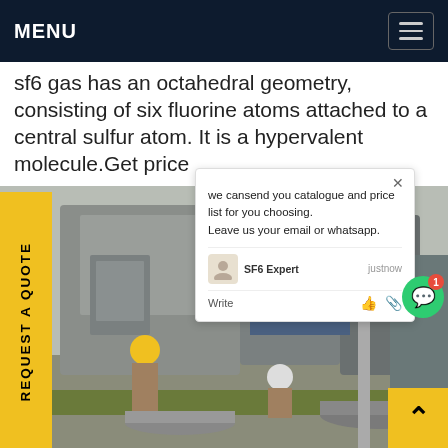MENU
sf6 gas has an octahedral geometry, consisting of six fluorine atoms attached to a central sulfur atom. It is a hypervalent molecule.Get price
[Figure (photo): Industrial site photo showing workers in hard hats inspecting large gray electrical equipment (likely SF6 gas insulated switchgear). Workers and cylindrical tanks visible. Overlaid with a chat popup widget.]
REQUEST A QUOTE
we cansend you catalogue and price list for you choosing.
Leave us your email or whatsapp.
SF6 Expert   justnow
Write